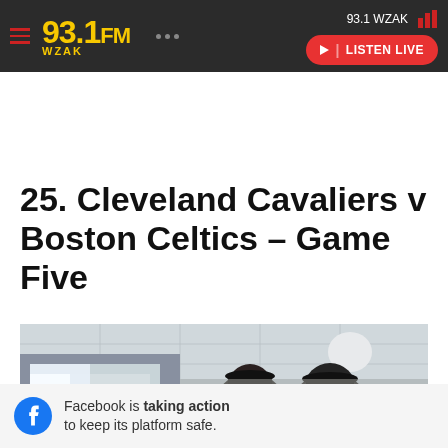93.1 WZAK — 93.1 FM WZAK header with Listen Live button
25. Cleveland Cavaliers v Boston Celtics – Game Five
[Figure (photo): Photo showing two people in a locker room or indoor facility, one wearing a black cap; interior ceiling tiles visible]
Facebook is taking action to keep its platform safe.